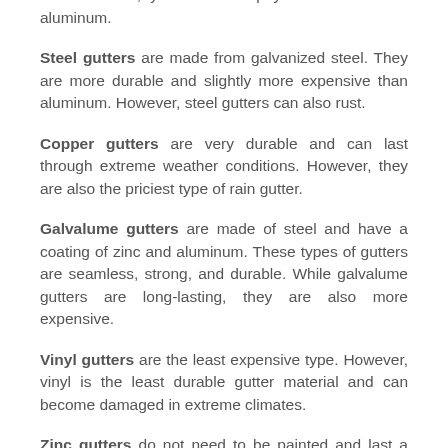of gutters. While thinner aluminum gutters tend to bend or dent, you can also pay more for thicker aluminum.
Steel gutters are made from galvanized steel. They are more durable and slightly more expensive than aluminum. However, steel gutters can also rust.
Copper gutters are very durable and can last through extreme weather conditions. However, they are also the priciest type of rain gutter.
Galvalume gutters are made of steel and have a coating of zinc and aluminum. These types of gutters are seamless, strong, and durable. While galvalume gutters are long-lasting, they are also more expensive.
Vinyl gutters are the least expensive type. However, vinyl is the least durable gutter material and can become damaged in extreme climates.
Zinc gutters do not need to be painted and last a long time. They also won't rust and don't require as much